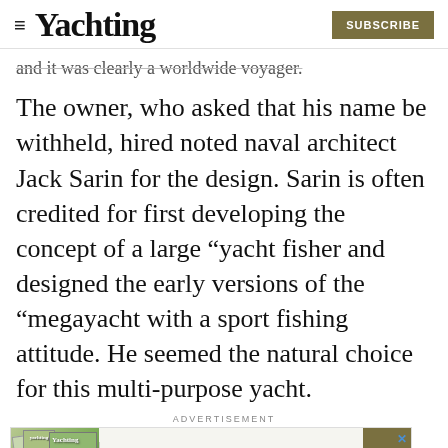Yachting | SUBSCRIBE
and it was clearly a worldwide voyager.
The owner, who asked that his name be withheld, hired noted naval architect Jack Sarin for the design. Sarin is often credited for first developing the concept of a large “yacht fisher and designed the early versions of the “megayacht with a sport fishing attitude. He seemed the natural choice for this multi-purpose yacht.
ADVERTISEMENT
[Figure (screenshot): Advertisement banner for Yachting magazine subscription: Subscribe to Yachting, One Year for just $39, Save 67%]